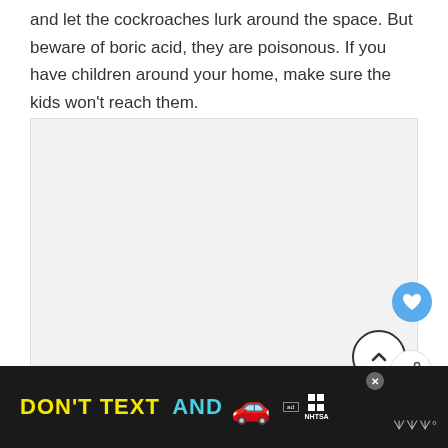and let the cockroaches lurk around the space. But beware of boric acid, they are poisonous. If you have children around your home, make sure the kids won't reach them.
[Figure (other): Large light gray placeholder/image area embedded in article content]
[Figure (screenshot): Advertisement banner at bottom: black background with yellow 'DON'T TEXT' and cyan 'AND' text, red car emoji, NHTSA ad badge and logo, close X button, weather icon on right]